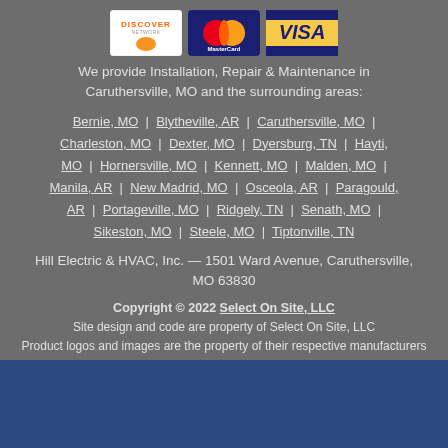[Figure (logo): Discover, MasterCard, and Visa credit card logos displayed in a row]
We provide Installation, Repair & Maintenance in Caruthersville, MO and the surrounding areas:
Bernie, MO | Blytheville, AR | Caruthersville, MO | Charleston, MO | Dexter, MO | Dyersburg, TN | Hayti, MO | Hornersville, MO | Kennett, MO | Malden, MO | Manila, AR | New Madrid, MO | Osceola, AR | Paragould, AR | Portageville, MO | Ridgely, TN | Senath, MO | Sikeston, MO | Steele, MO | Tiptonville, TN
Hill Electric & HVAC, Inc. — 1501 Ward Avenue, Caruthersville, MO 63830
Copyright © 2022 Select On Site, LLC
Site design and code are property of Select On Site, LLC
Product logos and images are the property of their respective manufacturers